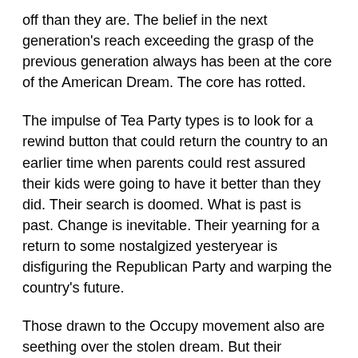off than they are. The belief in the next generation's reach exceeding the grasp of the previous generation always has been at the core of the American Dream. The core has rotted.
The impulse of Tea Party types is to look for a rewind button that could return the country to an earlier time when parents could rest assured their kids were going to have it better than they did. Their search is doomed. What is past is past. Change is inevitable. Their yearning for a return to some nostalgized yesteryear is disfiguring the Republican Party and warping the country's future.
Those drawn to the Occupy movement also are seething over the stolen dream. But their response to the anxiety they share with the tea partiers is totally different. They are putting their finger on what George Packer calls the "Broken Contract." Americans used to grow together. Now we are growing apart.
The battle cry of the occupiers is "We are the 99%." This brilliantly reduces to bumper-sticker length the fundamental